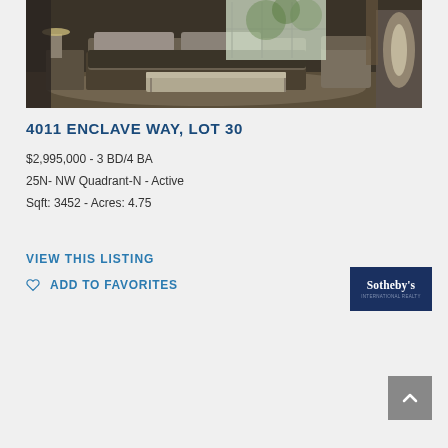[Figure (photo): Luxury bedroom interior with large bed, bench at foot, chairs, and large windows with greenery outside]
4011 ENCLAVE WAY, LOT 30
$2,995,000 - 3 BD/4 BA
25N- NW Quadrant-N - Active
Sqft: 3452 - Acres: 4.75
VIEW THIS LISTING
ADD TO FAVORITES
[Figure (logo): Sotheby's International Realty logo — dark navy blue rectangle with white text]
[Figure (other): Scroll-to-top button, grey square with upward chevron arrow]